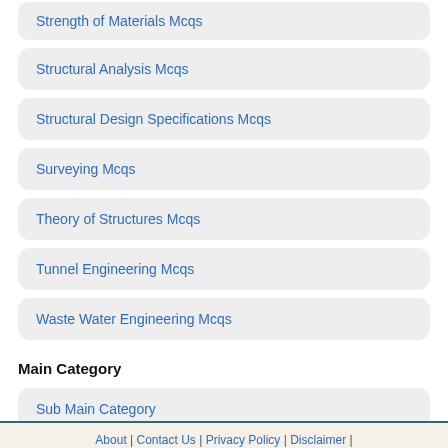Strength of Materials Mcqs
Structural Analysis Mcqs
Structural Design Specifications Mcqs
Surveying Mcqs
Theory of Structures Mcqs
Tunnel Engineering Mcqs
Waste Water Engineering Mcqs
Main Category
Sub Main Category
About | Contact Us | Privacy Policy | Disclaimer |